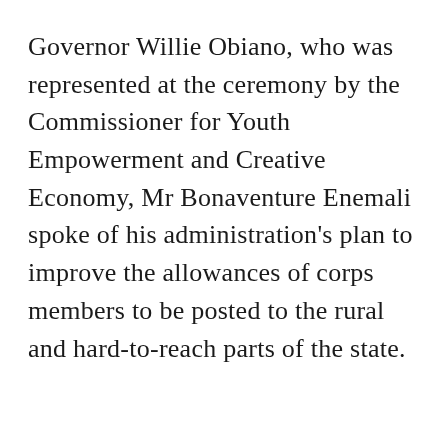Governor Willie Obiano, who was represented at the ceremony by the Commissioner for Youth Empowerment and Creative Economy, Mr Bonaventure Enemali spoke of his administration's plan to improve the allowances of corps members to be posted to the rural and hard-to-reach parts of the state.